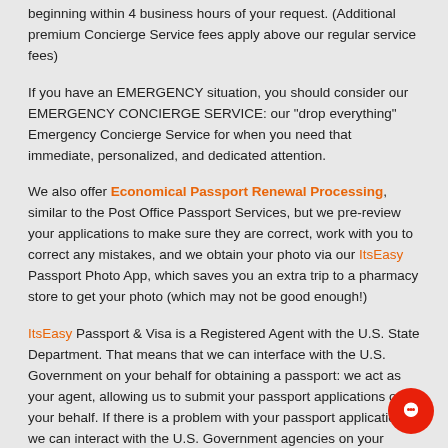beginning within 4 business hours of your request. (Additional premium Concierge Service fees apply above our regular service fees)
If you have an EMERGENCY situation, you should consider our EMERGENCY CONCIERGE SERVICE: our "drop everything" Emergency Concierge Service for when you need that immediate, personalized, and dedicated attention.
We also offer Economical Passport Renewal Processing, similar to the Post Office Passport Services, but we pre-review your applications to make sure they are correct, work with you to correct any mistakes, and we obtain your photo via our ItsEasy Passport Photo App, which saves you an extra trip to a pharmacy store to get your photo (which may not be good enough!)
ItsEasy Passport & Visa is a Registered Agent with the U.S. State Department. That means that we can interface with the U.S. Government on your behalf for obtaining a passport: we act as your agent, allowing us to submit your passport applications on your behalf. If there is a problem with your passport application, we can interact with the U.S. Government agencies on your behalf to resolve problems and